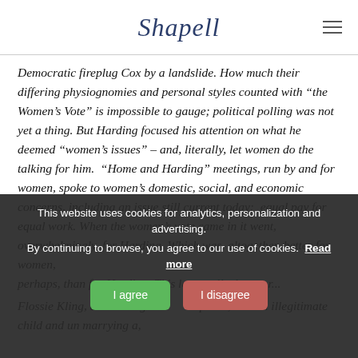Shapell
Democratic fireplug Cox by a landslide. How much their differing physiognomies and personal styles counted with “the Women’s Vote” is impossible to gauge; political polling was not yet a thing. But Harding focused his attention on what he deemed “women’s issues” – and, literally, let women do the talking for him. “Home and Harding” meetings, run by and for women, spoke to women’s domestic, social, and economic concerns, including an issue still current today: equal pay for equal work. When the women’s vote came in it went, overwhelmingly, for Harding. Which was, altogether, better for women, perhaps, than for Harding. This letter tells that stor...
Flossie Kling, at 30, a rare glam upright piano, had an illegitimate child and upon marrying a…
This website uses cookies for analytics, personalization and advertising. By continuing to browse, you agree to our use of cookies. Read more